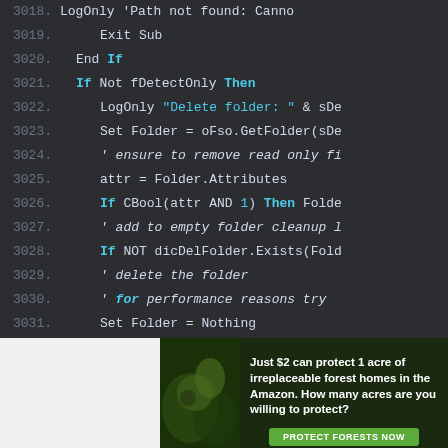[Figure (screenshot): Code editor screenshot showing VBScript code lines 3018-3035 with dark background. Line numbers in gray on the left, keywords like If/Then/For highlighted in cyan, string literals in cyan, normal code in light gray/white.]
[Figure (photo): Advertisement banner: 'Just $2 can protect 1 acre of irreplaceable forest homes in the Amazon. How many acres are you willing to protect?' with a green 'PROTECT FORESTS NOW' button and a forest/wildlife photo on the left.]